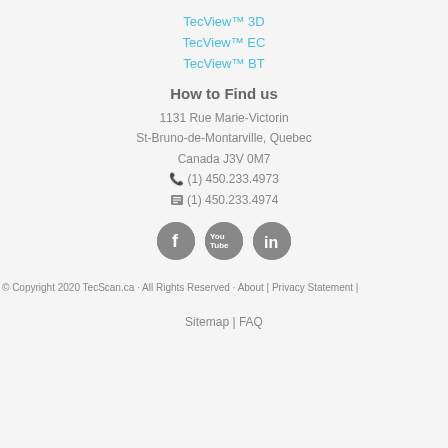TecView™ 3D
TecView™ EC
TecView™ BT
How to Find us
1131 Rue Marie-Victorin
St-Bruno-de-Montarville, Quebec
Canada J3V 0M7
☎ (1) 450.233.4973
🖷 (1) 450.233.4974
[Figure (infographic): Three circular grey social media icons: Facebook (f), YouTube (You Tube), LinkedIn (in)]
© Copyright 2020 TecScan.ca · All Rights Reserved · About | Privacy Statement |
Sitemap | FAQ